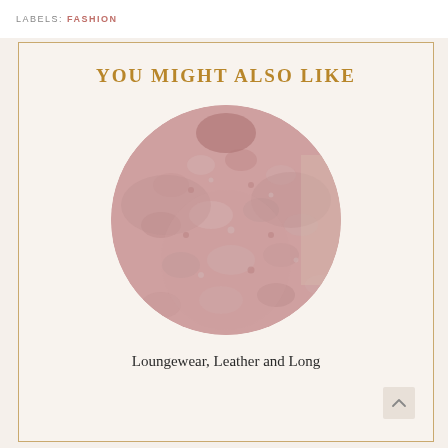LABELS: FASHION
YOU MIGHT ALSO LIKE
[Figure (photo): Circular cropped photo of a person wearing a pink fluffy/sherpa textured sweater or pullover top]
Loungewear, Leather and Long